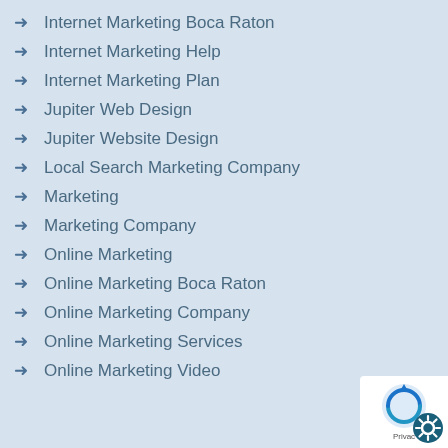Internet Marketing Boca Raton
Internet Marketing Help
Internet Marketing Plan
Jupiter Web Design
Jupiter Website Design
Local Search Marketing Company
Marketing
Marketing Company
Online Marketing
Online Marketing Boca Raton
Online Marketing Company
Online Marketing Services
Online Marketing Video